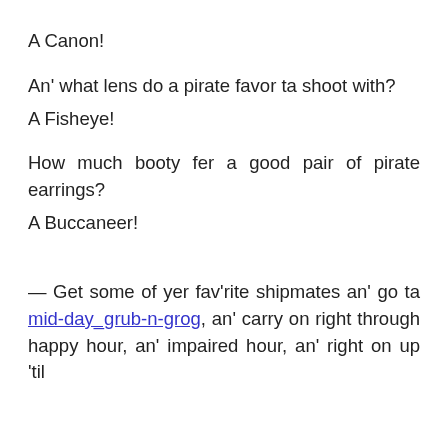A Canon!
An' what lens do a pirate favor ta shoot with?
A Fisheye!
How much booty fer a good pair of pirate earrings?
A Buccaneer!
— Get some of yer fav'rite shipmates an' go ta mid-day_grub-n-grog, an' carry on right through happy hour, an' impaired hour, an' right on up 'til